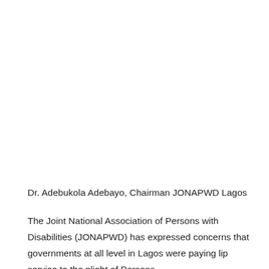Dr. Adebukola Adebayo, Chairman JONAPWD Lagos
The Joint National Association of Persons with Disabilities (JONAPWD) has expressed concerns that governments at all level in Lagos were paying lip service to the plight of Persons